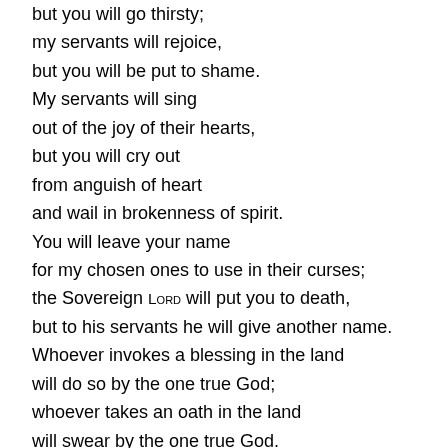but you will go thirsty;
my servants will rejoice,
but you will be put to shame.
My servants will sing
out of the joy of their hearts,
but you will cry out
from anguish of heart
and wail in brokenness of spirit.
You will leave your name
for my chosen ones to use in their curses;
the Sovereign Lord will put you to death,
but to his servants he will give another name.
Whoever invokes a blessing in the land
will do so by the one true God;
whoever takes an oath in the land
will swear by the one true God.
For the past troubles will be forgotten
and hidden from my eyes.